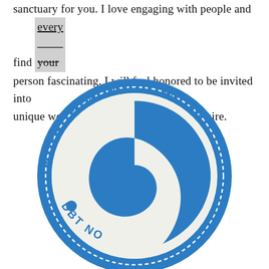sanctuary for you. I love engaging with people and find every person fascinating. I will feel honored to be invited into your unique world and to know your heart's desire.
[Figure (logo): Certified DBT Clinician seal/badge logo in blue and white, circular stamp design with dashed border ring, showing a wave/head silhouette motif and text 'CERTIFIED DBT CLINICIAN' curved along the top, with 'DBT' and 'NO' partially visible at the bottom.]